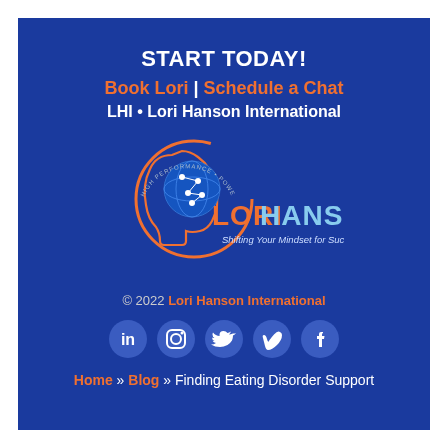START TODAY!
Book Lori | Schedule a Chat
LHI • Lori Hanson International
[Figure (logo): Lori Hanson International logo with silhouette head, brain constellation, orange circle, LORIHANSON text, and tagline 'Shifting Your Mindset for Success']
© 2022 Lori Hanson International
[Figure (infographic): Social media icons row: LinkedIn, Instagram, Twitter, Vimeo, Facebook — all circular blue buttons]
Home » Blog » Finding Eating Disorder Support